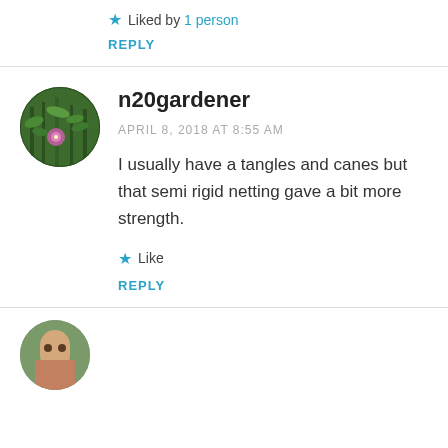★ Liked by 1 person
REPLY
n20gardener
APRIL 8, 2018 AT 8:55 AM
I usually have a tangles and canes but that semi rigid netting gave a bit more strength.
★ Like
REPLY